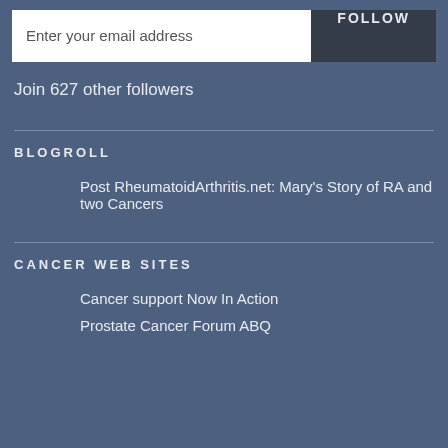Enter your email address
FOLLOW
Join 627 other followers
BLOGROLL
Post RheumatoidArthritis.net: Mary's Story of RA and two Cancers
CANCER WEB SITES
Cancer support Now In Action
Prostate Cancer Forum ABQ
New Mexico…